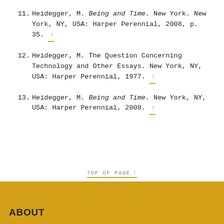11. Heidegger, M. Being and Time. New York. New York, NY, USA: Harper Perennial, 2008, p. 35. ↑
12. Heidegger, M. The Question Concerning Technology and Other Essays. New York, NY, USA: Harper Perennial, 1977. ↑
13. Heidegger, M. Being and Time. New York, NY, USA: Harper Perennial, 2008. ↑
TOP OF PAGE ↑
ABOUT